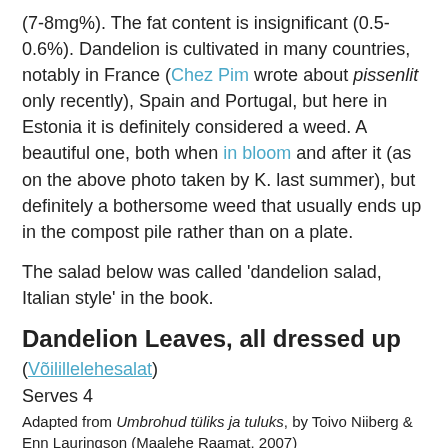(7-8mg%). The fat content is insignificant (0.5-0.6%). Dandelion is cultivated in many countries, notably in France (Chez Pim wrote about pissenlit only recently), Spain and Portugal, but here in Estonia it is definitely considered a weed. A beautiful one, both when in bloom and after it (as on the above photo taken by K. last summer), but definitely a bothersome weed that usually ends up in the compost pile rather than on a plate.
The salad below was called 'dandelion salad, Italian style' in the book.
Dandelion Leaves, all dressed up
(Võilillelehesalat)
Serves 4
Adapted from Umbrohud tüliks ja tuluks, by Toivo Niiberg & Enn Lauringson (Maalehe Raamat, 2007)
[Figure (photo): Partial photo of a dandelion salad dish, showing a close-up of leaves and dressing on a plate, cropped at the bottom of the page.]